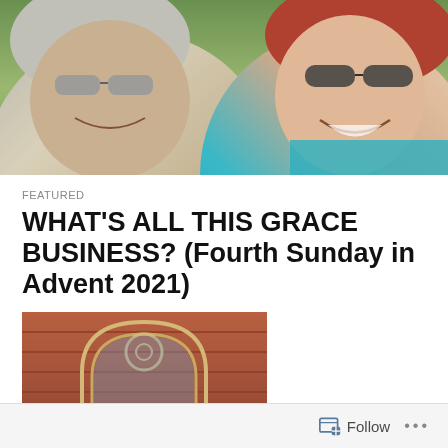[Figure (photo): Outdoor selfie photo of two people: an older man with grey hair and tinted glasses on the left, and a woman with red hair wearing sunglasses and a teal top on the right, taken outdoors with green foliage in the background.]
FEATURED
WHAT'S ALL THIS GRACE BUSINESS? (Fourth Sunday in Advent 2021)
[Figure (photo): Photo of four people standing in front of a brick church with a Gothic arched doorway. From left to right: a woman in black, a man in a blue shirt, a woman in dark clothing, and a man in a white shirt.]
Follow ...